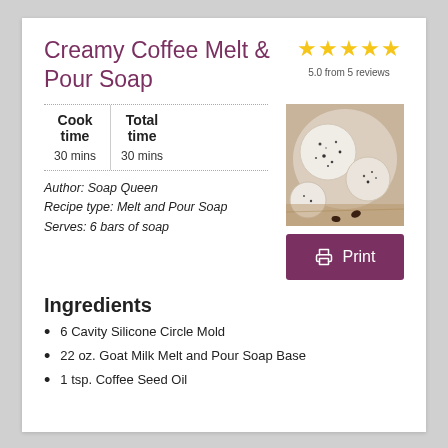Creamy Coffee Melt & Pour Soap
5.0 from 5 reviews
| Cook time | Total time |
| --- | --- |
| 30 mins | 30 mins |
[Figure (photo): Overhead photo of round white speckled soap bars on wooden board]
Author: Soap Queen
Recipe type: Melt and Pour Soap
Serves: 6 bars of soap
[Figure (other): Print button with printer icon]
Ingredients
6 Cavity Silicone Circle Mold
22 oz. Goat Milk Melt and Pour Soap Base
1 tsp. Coffee Seed Oil